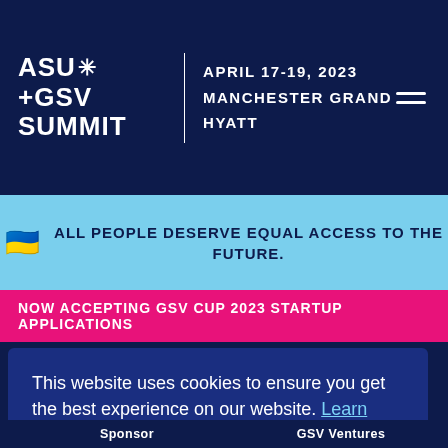[Figure (logo): ASU+GSV Summit logo with starburst icon, white text on dark navy background]
APRIL 17-19, 2023
MANCHESTER GRAND HYATT
ALL PEOPLE DESERVE EQUAL ACCESS TO THE FUTURE.
NOW ACCEPTING GSV CUP 2023 STARTUP APPLICATIONS
LATEST UPDATES
RESOURCES
Get updates
Latest News
GSVN2K Newsletter
Video
This website uses cookies to ensure you get the best experience on our website. Learn more
Got it!
Sponsor
GSV Ventures